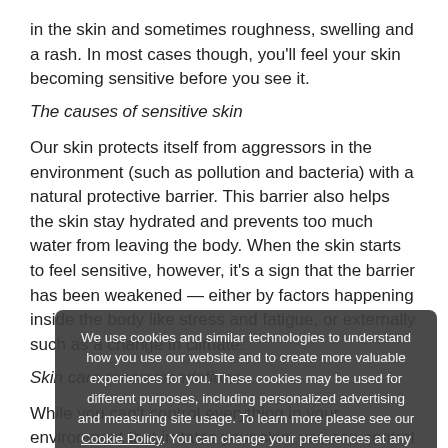in the skin and sometimes roughness, swelling and a rash. In most cases though, you'll feel your skin becoming sensitive before you see it.
The causes of sensitive skin
Our skin protects itself from aggressors in the environment (such as pollution and bacteria) with a natural protective barrier. This barrier also helps the skin stay hydrated and prevents too much water from leaving the body. When the skin starts to feel sensitive, however, it's a sign that the barrier has been weakened — either by factors happening inside the body like stress and fatigue, or externally such as a change in climate.
Skin care recommendations
While you can't control everything in your environment that irritates your skin, you can control the skin care you use to clean and moisturise it with. Try to avoid anything too harsh or drying such as soaps or overly perfumed products as these can strip the skin of the essential oils
We use cookies and similar technologies to understand how you use our website and to create more valuable experiences for you. These cookies may be used for different purposes, including personalized advertising and measuring site usage. To learn more please see our Cookie Policy. You can change your preferences at any time through our Cookie preferences tool.